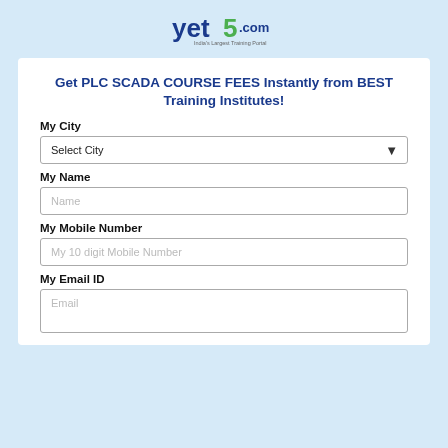[Figure (logo): yet5.com logo - 'yet' in dark blue, '5' in green, '.com' in dark blue, tagline 'India's Largest Training Portal' in small text below]
Get PLC SCADA COURSE FEES Instantly from BEST Training Institutes!
My City
Select City
My Name
Name
My Mobile Number
My 10 digit Mobile Number
My Email ID
Email